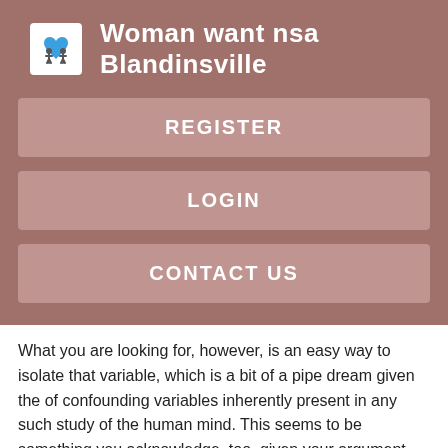Woman want nsa Blandinsville
REGISTER
LOGIN
CONTACT US
What you are looking for, however, is an easy way to isolate that variable, which is a bit of a pipe dream given the of confounding variables inherently present in any such study of the human mind. This seems to be something you acknowledge, too, given your argument that humans are somehow too complex to study but then also advocating for applying an overly simplistic form of study to them, which will yield, as I said, no viable.
But to briefly answer some of you questions; we are clusters of